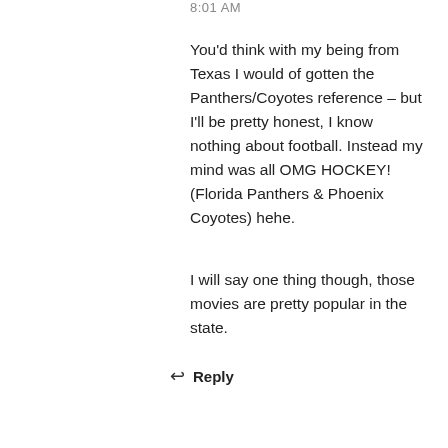8:01 AM
You'd think with my being from Texas I would of gotten the Panthers/Coyotes reference – but I'll be pretty honest, I know nothing about football. Instead my mind was all OMG HOCKEY! (Florida Panthers & Phoenix Coyotes) hehe.
I will say one thing though, those movies are pretty popular in the state.
↩ Reply